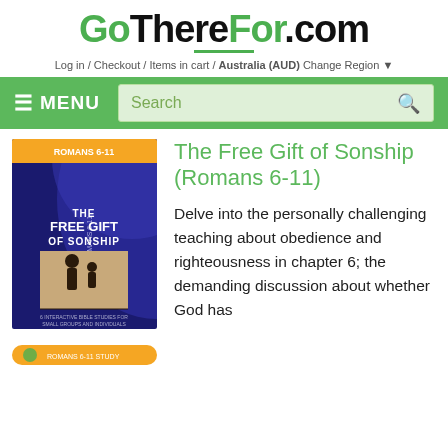GoThereFor.com
Log in / Checkout / Items in cart / Australia (AUD) Change Region
≡ MENU  Search
[Figure (illustration): Book cover for 'The Free Gift of Sonship (Romans 6-11)' — dark blue and purple background with a silhouette of a person and child, orange banner at top reading 'ROMANS 6-11', vertical text on spine 'ROMANS 6-11', subtitle 'THE FREE GIFT OF SONSHIP' in large white text, small descriptive text at bottom. Also a secondary small book cover snippet visible below.]
The Free Gift of Sonship (Romans 6-11)
Delve into the personally challenging teaching about obedience and righteousness in chapter 6; the demanding discussion about whether God has